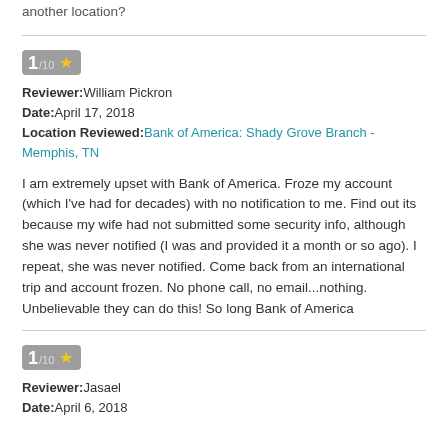another location?
1/10 ★
Reviewer: William Pickron
Date: April 17, 2018
Location Reviewed: Bank of America: Shady Grove Branch - Memphis, TN
I am extremely upset with Bank of America. Froze my account (which I've had for decades) with no notification to me. Find out its because my wife had not submitted some security info, although she was never notified (I was and provided it a month or so ago). I repeat, she was never notified. Come back from an international trip and account frozen. No phone call, no email...nothing. Unbelievable they can do this! So long Bank of America
1/10 ★
Reviewer: Jasael
Date: April 6, 2018